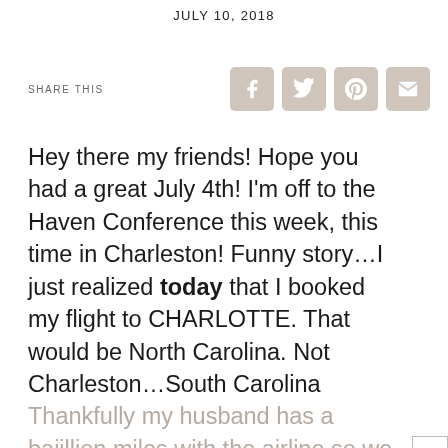JULY 10, 2018
SHARE THIS
Hey there my friends! Hope you had a great July 4th! I'm off to the Haven Conference this week, this time in Charleston! Funny story…I just realized today that I booked my flight to CHARLOTTE. That would be North Carolina. Not Charleston…South Carolina. Thankfully my husband has a bajillion miles with the airline so we got it worked